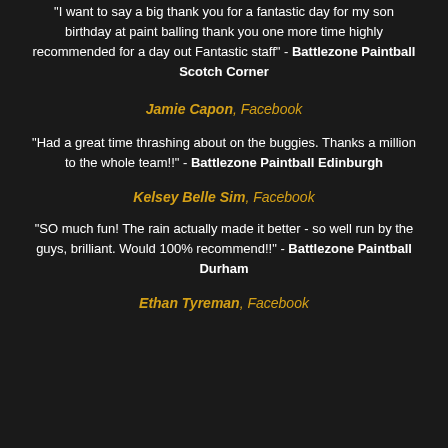"I want to say a big thank you for a fantastic day for my son birthday at paint balling thank you one more time highly recommended for a day out Fantastic staff" - Battlezone Paintball Scotch Corner
Jamie Capon, Facebook
"Had a great time thrashing about on the buggies. Thanks a million to the whole team!!" - Battlezone Paintball Edinburgh
Kelsey Belle Sim, Facebook
"SO much fun! The rain actually made it better - so well run by the guys, brilliant. Would 100% recommend!!" - Battlezone Paintball Durham
Ethan Tyreman, Facebook